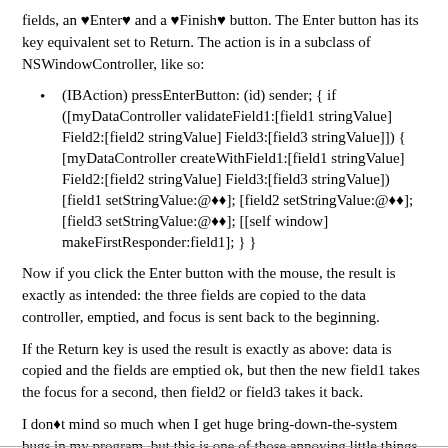fields, an ‘Enter’ and a ‘Finish’ button. The Enter button has its key equivalent set to Return. The action is in a subclass of NSWindowController, like so:
(IBAction) pressEnterButton: (id) sender; { if ([myDataController validateField1:[field1 stringValue] Field2:[field2 stringValue] Field3:[field3 stringValue]]) { [myDataController createWithField1:[field1 stringValue] Field2:[field2 stringValue] Field3:[field3 stringValue]) [field1 setStringValue:@◆◆]; [field2 setStringValue:@◆◆]; [field3 setStringValue:@◆◆]; [[self window] makeFirstResponder:field1]; } }
Now if you click the Enter button with the mouse, the result is exactly as intended: the three fields are copied to the data controller, emptied, and focus is sent back to the beginning.
If the Return key is used the result is exactly as above: data is copied and the fields are emptied ok, but then the new field1 takes the focus for a second, then field2 or field3 takes it back.
I don’t mind so much when I get huge bring-down-the-system bugs in my program, but this is one of those annoying little things that makes me want to [computer applyAxe]